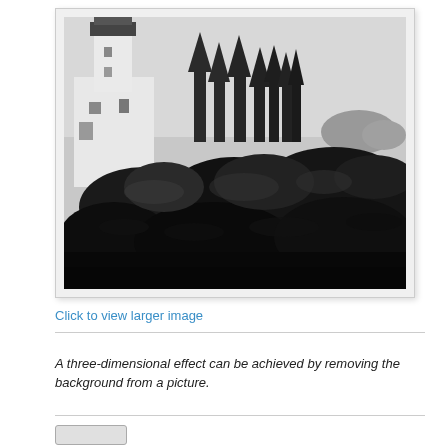[Figure (photo): Black and white photograph of a lighthouse with rocky coastal foreground. A white lighthouse tower with a lamp room at the top is visible on the left, surrounded by dark conifer trees. The foreground shows large dark rocks and boulders at the shoreline. Mountains or sea stacks are faintly visible in the background on the right.]
Click to view larger image
A three-dimensional effect can be achieved by removing the background from a picture.